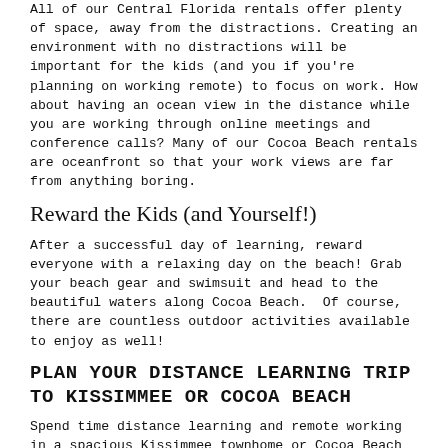All of our Central Florida rentals offer plenty of space, away from the distractions. Creating an environment with no distractions will be important for the kids (and you if you're planning on working remote) to focus on work. How about having an ocean view in the distance while you are working through online meetings and conference calls? Many of our Cocoa Beach rentals are oceanfront so that your work views are far from anything boring.
Reward the Kids (and Yourself!)
After a successful day of learning, reward everyone with a relaxing day on the beach! Grab your beach gear and swimsuit and head to the beautiful waters along Cocoa Beach.  Of course, there are countless outdoor activities available to enjoy as well!
PLAN YOUR DISTANCE LEARNING TRIP TO KISSIMMEE OR COCOA BEACH
Spend time distance learning and remote working in a spacious Kissimmee townhome or Cocoa Beach condo. Wi-Fi is also offered in every rental. Find your dream Central Florida vacation rental property...